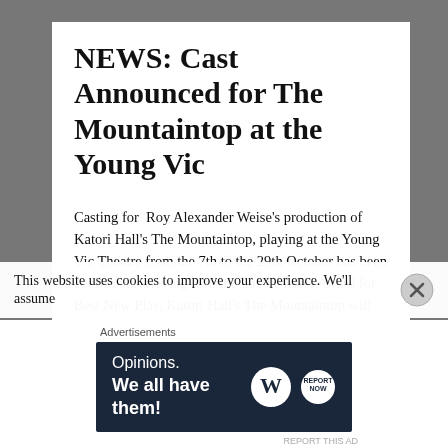NEWS: Cast Announced for The Mountaintop at the Young Vic
Casting for Roy Alexander Weise's production of Katori Hall's The Mountaintop, playing at the Young Vic Theatre from the 7th to the 29th October has been confirmed. Having won the 2010 Olivier Award for Best New Play, Katori Hall's The Mountaintop will return to the stage starring Gbolahan Obisesan as Dr. Martin Luther
This website uses cookies to improve your experience. We'll assume
Advertisements
[Figure (other): Advertisement banner with dark navy background. Text reads 'Opinions. We all have them!' with WordPress and another logo on the right.]